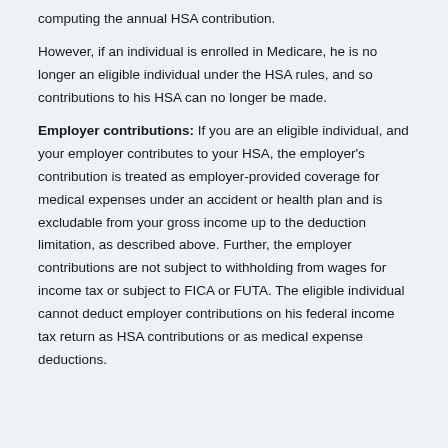computing the annual HSA contribution.
However, if an individual is enrolled in Medicare, he is no longer an eligible individual under the HSA rules, and so contributions to his HSA can no longer be made.
Employer contributions: If you are an eligible individual, and your employer contributes to your HSA, the employer's contribution is treated as employer-provided coverage for medical expenses under an accident or health plan and is excludable from your gross income up to the deduction limitation, as described above. Further, the employer contributions are not subject to withholding from wages for income tax or subject to FICA or FUTA. The eligible individual cannot deduct employer contributions on his federal income tax return as HSA contributions or as medical expense deductions.